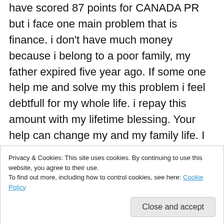have scored 87 points for CANADA PR but i face one main problem that is finance. i don't have much money because i belong to a poor family, my father expired five year ago. If some one help me and solve my this problem i feel debtfull for my whole life. i repay this amount with my lifetime blessing. Your help can change my and my family life. I hope some one understand my problem and trying to solve it. thanks
My email id is ashok84@ymail.com and my contact number is +919872382719
Privacy & Cookies: This site uses cookies. By continuing to use this website, you agree to their use.
To find out more, including how to control cookies, see here: Cookie Policy